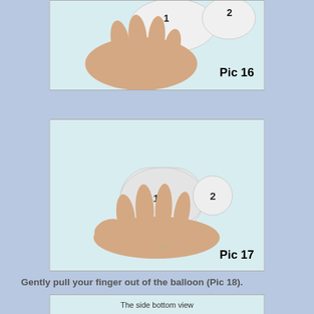[Figure (photo): Hand holding a white balloon/cup device, labeled 1 and 2, Pic 16]
[Figure (photo): Hand holding a white balloon device labeled 1 and 2, side view, Pic 17]
Gently pull your finger out of the balloon (Pic 18).
[Figure (photo): Bottom box showing 'The side bottom view']